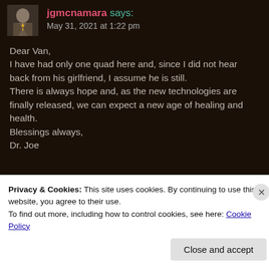jgmcnamara says: May 31, 2021 at 1:22 pm
Dear Van,
I have had only one quad here and, since I did not hear back from his girlfriend, I assume he is still.
There is always hope and, as the new technologies are finally released, we can expect a new age of healing and health.
Blessings always,
Dr. Joe
Privacy & Cookies: This site uses cookies. By continuing to use this website, you agree to their use.
To find out more, including how to control cookies, see here: Cookie Policy
Close and accept